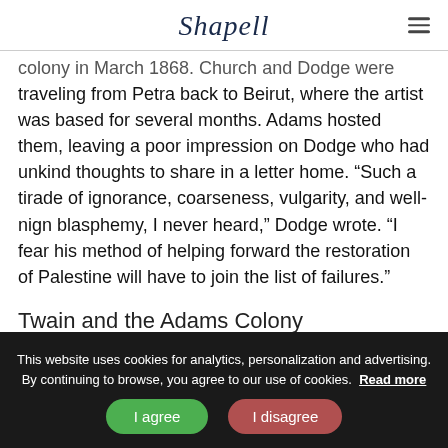Shapell
colony in March 1868. Church and Dodge were traveling from Petra back to Beirut, where the artist was based for several months. Adams hosted them, leaving a poor impression on Dodge who had unkind thoughts to share in a letter home. “Such a tirade of ignorance, coarseness, vulgarity, and well-nign blasphemy, I never heard,” Dodge wrote. “I fear his method of helping forward the restoration of Palestine will have to join the list of failures.”
Twain and the Adams Colony
This website uses cookies for analytics, personalization and advertising. By continuing to browse, you agree to our use of cookies. Read more
I agree   I disagree